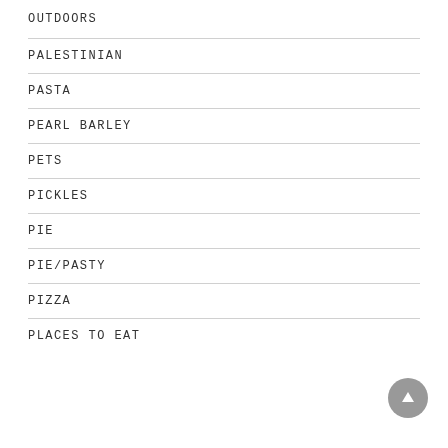OUTDOORS
PALESTINIAN
PASTA
PEARL BARLEY
PETS
PICKLES
PIE
PIE/PASTY
PIZZA
PLACES TO EAT